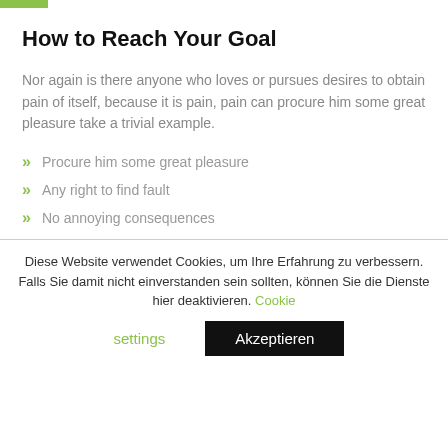How to Reach Your Goal
Nor again is there anyone who loves or pursues desires to obtain pain of itself, because it is pain, pain can procure him some great pleasure take a trivial example.
Procure him some great pleasure
Any right to find fault
No annoying consequences
Diese Website verwendet Cookies, um Ihre Erfahrung zu verbessern. Falls Sie damit nicht einverstanden sein sollten, können Sie die Dienste hier deaktivieren. Cookie settings Akzeptieren